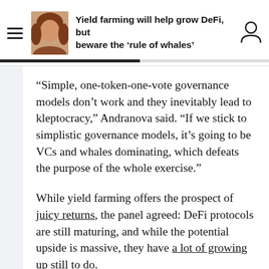Yield farming will help grow DeFi, but beware the ‘rule of whales’
“Simple, one-token-one-vote governance models don’t work and they inevitably lead to kleptocracy,” Andranova said. “If we stick to simplistic governance models, it’s going to be VCs and whales dominating, which defeats the purpose of the whole exercise.”
While yield farming offers the prospect of juicy returns, the panel agreed: DeFi protocols are still maturing, and while the potential upside is massive, they have a lot of growing up still to do.